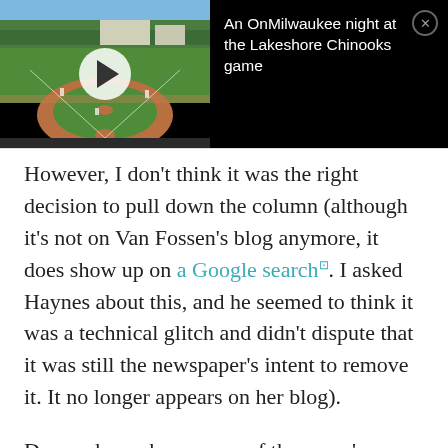[Figure (screenshot): Video thumbnail showing a baseball field (Lakeshore Chinooks game) with a play button overlay, next to black panel with title 'An OnMilwaukee night at the Lakeshore Chinooks game' and a close button]
However, I don't think it was the right decision to pull down the column (although it's not on Van Fossen's blog anymore, it does show up on a Google search. I asked Haynes about this, and he seemed to think it was a technical glitch and didn't dispute that it was still the newspaper's intent to remove it. It no longer appears on her blog).
Do you know how many of the paper's editorials and columns over the years haven't met some